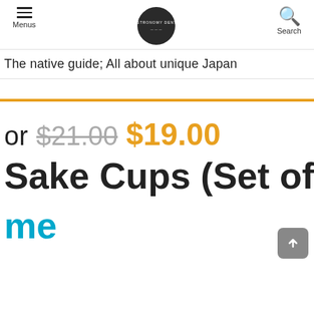Menus | [logo] | Search
The native guide; All about unique Japan
or $21.00 $19.00
Sake Cups (Set of
me